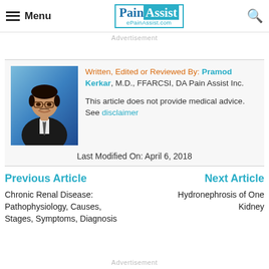Menu | PainAssist ePainAssist.com
Advertisement
[Figure (photo): Photo of Pramod Kerkar, a man in a suit and tie against a blue background]
Written, Edited or Reviewed By: Pramod Kerkar, M.D., FFARCSI, DA Pain Assist Inc.

This article does not provide medical advice. See disclaimer

Last Modified On: April 6, 2018
Previous Article
Next Article
Chronic Renal Disease: Pathophysiology, Causes, Stages, Symptoms, Diagnosis
Hydronephrosis of One Kidney
Advertisement